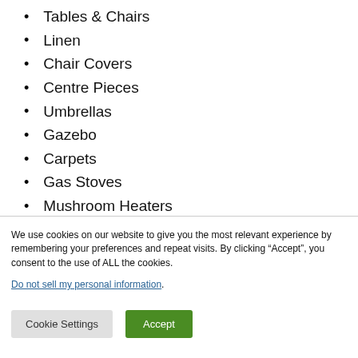Tables & Chairs
Linen
Chair Covers
Centre Pieces
Umbrellas
Gazebo
Carpets
Gas Stoves
Mushroom Heaters
Other
Cutlery
We use cookies on our website to give you the most relevant experience by remembering your preferences and repeat visits. By clicking “Accept”, you consent to the use of ALL the cookies.
Do not sell my personal information.
Cookie Settings
Accept